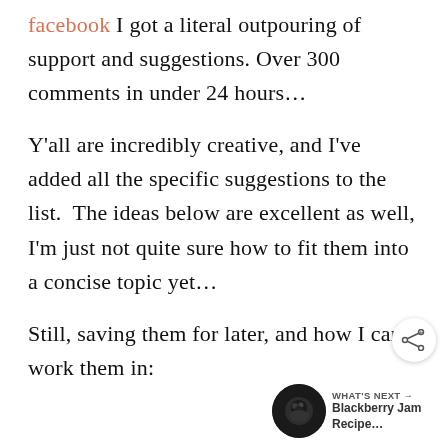facebook I got a literal outpouring of support and suggestions. Over 300 comments in under 24 hours…

Y'all are incredibly creative, and I've added all the specific suggestions to the list.  The ideas below are excellent as well, I'm just not quite sure how to fit them into a concise topic yet…

Still, saving them for later, and how I can work them in:
[Figure (other): Share button icon (circle with share/plus symbol)]
[Figure (other): WHAT'S NEXT arrow label with Blackberry Jam Recipe thumbnail image and text]